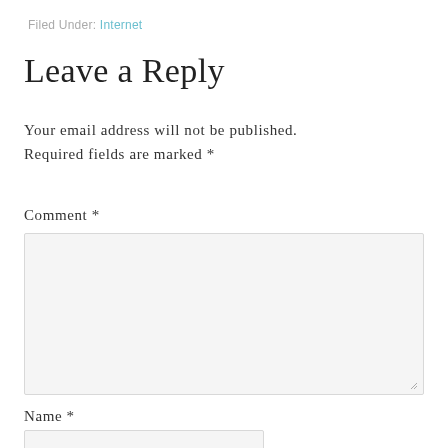Filed Under: Internet
Leave a Reply
Your email address will not be published. Required fields are marked *
Comment *
[Figure (other): Comment text area input box, light gray background with resize handle]
Name *
[Figure (other): Name text input box, light gray background, partially visible]